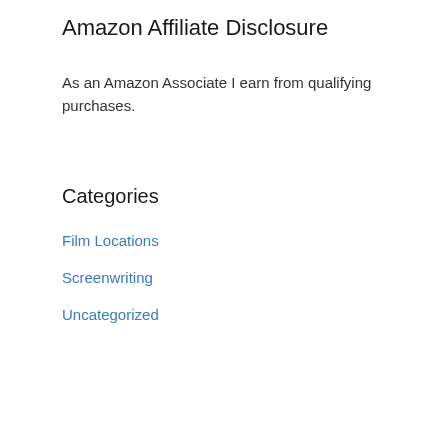Amazon Affiliate Disclosure
As an Amazon Associate I earn from qualifying purchases.
Categories
Film Locations
Screenwriting
Uncategorized